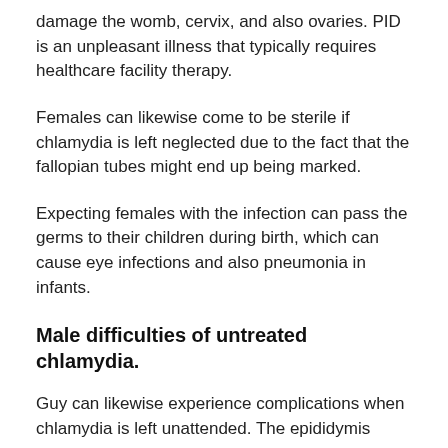damage the womb, cervix, and also ovaries. PID is an unpleasant illness that typically requires healthcare facility therapy.
Females can likewise come to be sterile if chlamydia is left neglected due to the fact that the fallopian tubes might end up being marked.
Expecting females with the infection can pass the germs to their children during birth, which can cause eye infections and also pneumonia in infants.
Male difficulties of untreated chlamydia.
Guy can likewise experience complications when chlamydia is left unattended. The epididymis